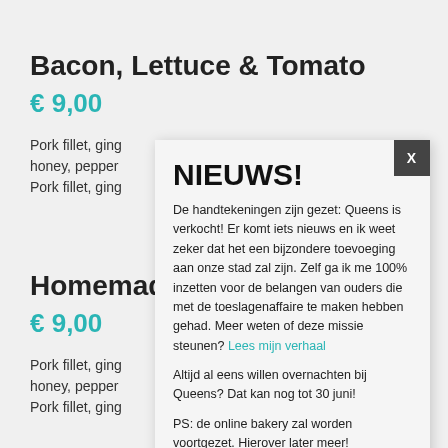Bacon, Lettuce & Tomato
€ 9,00
Pork fillet, ging...
honey, pepper...
Pork fillet, ging...
Homemade...
€ 9,00
Pork fillet, ging...
honey, pepper...
Pork fillet, ging...
NIEUWS!
De handtekeningen zijn gezet: Queens is verkocht! Er komt iets nieuws en ik weet zeker dat het een bijzondere toevoeging aan onze stad zal zijn. Zelf ga ik me 100% inzetten voor de belangen van ouders die met de toeslagenaffaire te maken hebben gehad. Meer weten of deze missie steunen? Lees mijn verhaal
Altijd al eens willen overnachten bij Queens? Dat kan nog tot 30 juni!
PS: de online bakery zal worden voortgezet. Hierover later meer!